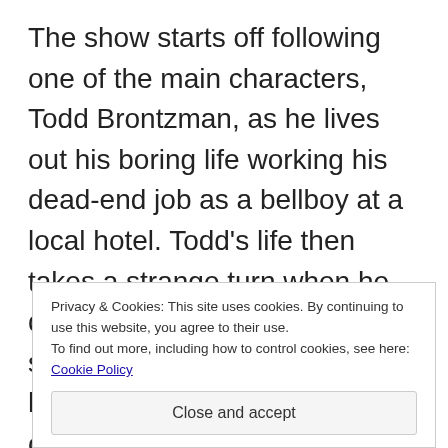The show starts off following one of the main characters, Todd Brontzman, as he lives out his boring life working his dead-end job as a bellboy at a local hotel. Todd's life then takes a strange turn when he discovers a grisly murder scene in the penthouse of the hotel, which sparks the events of the show. Soon after, Todd meets the titular character Dirk Gently, and the two of them set off to solve the murder. The most r f f f
Privacy & Cookies: This site uses cookies. By continuing to use this website, you agree to their use.
To find out more, including how to control cookies, see here: Cookie Policy
Close and accept